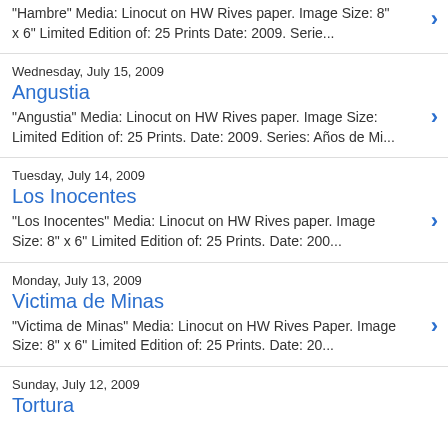"Hambre" Media: Linocut on HW Rives paper. Image Size: 8" x 6" Limited Edition of: 25 Prints Date: 2009. Serie...
Wednesday, July 15, 2009
Angustia
"Angustia" Media: Linocut on HW Rives paper. Image Size: Limited Edition of: 25 Prints. Date: 2009. Series: Años de Mi...
Tuesday, July 14, 2009
Los Inocentes
"Los Inocentes" Media: Linocut on HW Rives paper. Image Size: 8" x 6" Limited Edition of: 25 Prints. Date: 200...
Monday, July 13, 2009
Victima de Minas
"Victima de Minas" Media: Linocut on HW Rives Paper. Image Size: 8" x 6" Limited Edition of: 25 Prints. Date: 20...
Sunday, July 12, 2009
Tortura